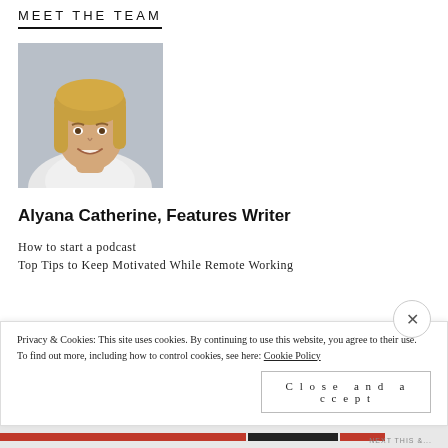MEET THE TEAM
[Figure (photo): Headshot photo of Alyana Catherine, a woman with blonde hair smiling, wearing a white top, against a gray background]
Alyana Catherine, Features Writer
How to start a podcast
Top Tips to Keep Motivated While Remote Working
Privacy & Cookies: This site uses cookies. By continuing to use this website, you agree to their use.
To find out more, including how to control cookies, see here: Cookie Policy
Close and accept